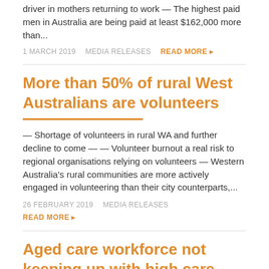driver in mothers returning to work — The highest paid men in Australia are being paid at least $162,000 more than...
1 MARCH 2019   MEDIA RELEASES   READ MORE ▶
More than 50% of rural West Australians are volunteers
— Shortage of volunteers in rural WA and further decline to come — — Volunteer burnout a real risk to regional organisations relying on volunteers — Western Australia's rural communities are more actively engaged in volunteering than their city counterparts,...
26 FEBRUARY 2019   MEDIA RELEASES
READ MORE ▶
Aged care workforce not keeping up with high care demand